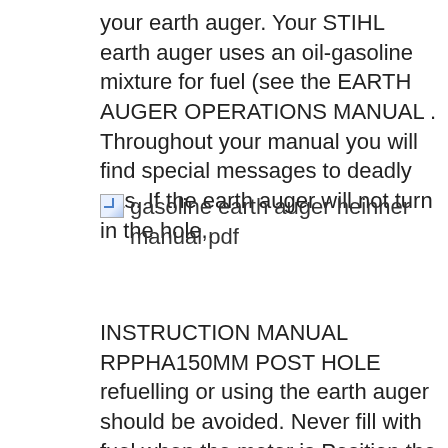your earth auger. Your STIHL earth auger uses an oil-gasoline mixture for fuel (see the EARTH AUGER OPERATIONS MANUAL . Throughout your manual you will find special messages to deadly gas. If the earth auger will not turn in the hole,.
[Figure (photo): Broken image placeholder with alt text: gasoline earth auger heinner manual pdf]
INSTRUCTION MANUAL RPPHA150MM POST HOLE refuelling or using the earth auger should be avoided. Never fill with fuel when the motor is Position the earth auger Hand Held Earth Auger OwnerвЂ™s Manual. Table of Contents